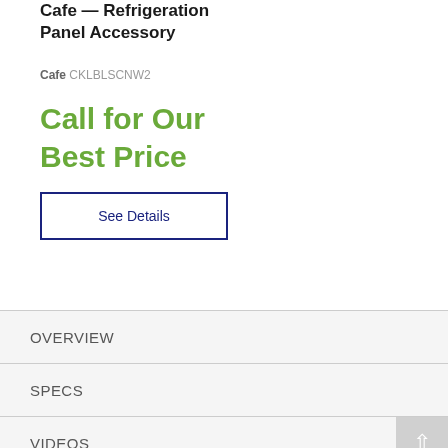Cafe — Refrigeration Panel Accessory
Cafe CKLBLSCNW2
Call for Our Best Price
See Details
OVERVIEW
SPECS
VIDEOS
DELIVERY